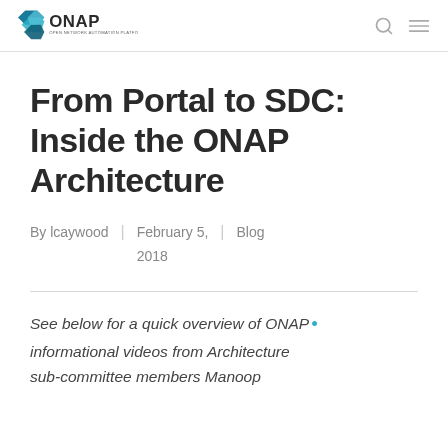ONAP – Open Network Automation Platform
From Portal to SDC: Inside the ONAP Architecture
By lcaywood | February 5, 2018 | Blog
See below for a quick overview of ONAP informational videos from Architecture sub-committee members Manoop